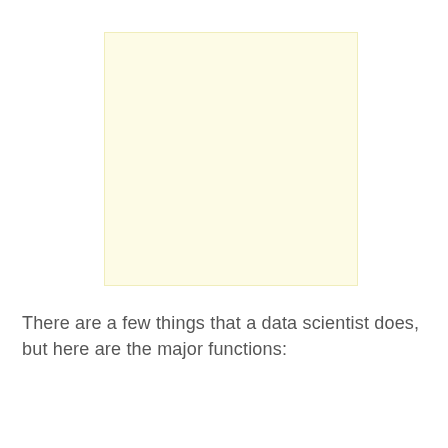[Figure (other): A large light yellow/cream colored square box, blank interior, serving as an image placeholder or decorative element.]
There are a few things that a data scientist does, but here are the major functions: